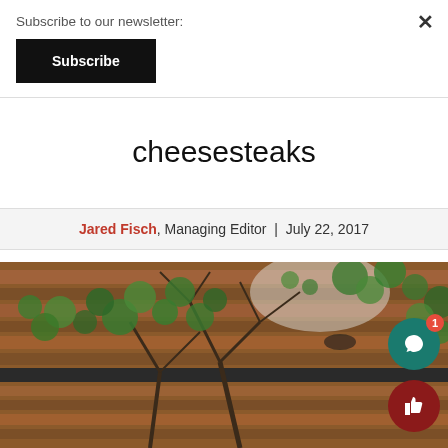Subscribe to our newsletter:
Subscribe
cheesesteaks
Jared Fisch, Managing Editor | July 22, 2017
[Figure (photo): Interior photo showing a large indoor plant with green leaves and bare branches in front of a wooden slatted wall/ceiling structure]